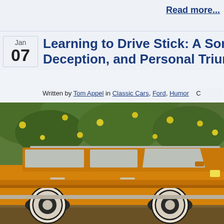Read more...
Learning to Drive Stick: A Sordid T... Deception, and Personal Triumph...
Written by Tom Appel in Classic Cars, Ford, Humor   C
[Figure (photo): Orange/yellow Ford Pinto station wagon parked in front of leafy green trees with citrus fruit. The car has white wall tires and visible chrome trim. Vintage photograph with warm tones.]